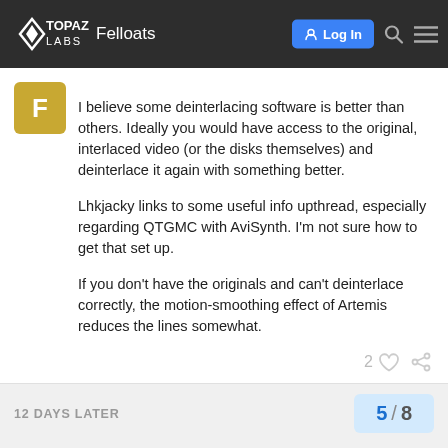Topaz Labs — Felloats | Log In
I believe some deinterlacing software is better than others. Ideally you would have access to the original, interlaced video (or the disks themselves) and deinterlace it again with something better.

Lhkjacky links to some useful info upthread, especially regarding QTGMC with AviSynth. I'm not sure how to get that set up.

If you don't have the originals and can't deinterlace correctly, the motion-smoothing effect of Artemis reduces the lines somewhat.
2
12 DAYS LATER
5 / 8